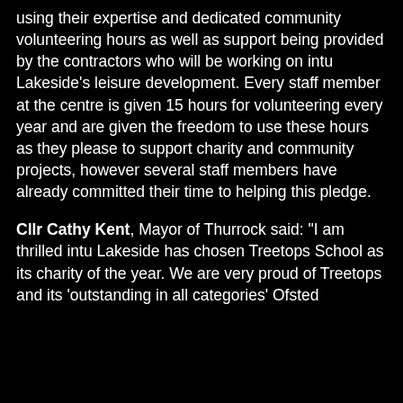using their expertise and dedicated community volunteering hours as well as support being provided by the contractors who will be working on intu Lakeside's leisure development. Every staff member at the centre is given 15 hours for volunteering every year and are given the freedom to use these hours as they please to support charity and community projects, however several staff members have already committed their time to helping this pledge.
Cllr Cathy Kent, Mayor of Thurrock said: "I am thrilled intu Lakeside has chosen Treetops School as its charity of the year. We are very proud of Treetops and its 'outstanding in all categories' Ofsted